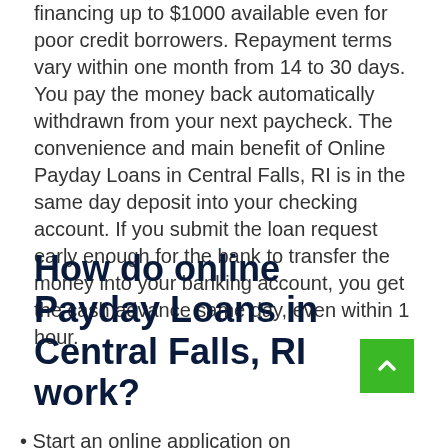financing up to $1000 available even for poor credit borrowers. Repayment terms vary within one month from 14 to 30 days. You pay the money back automatically withdrawn from your next paycheck. The convenience and main benefit of Online Payday Loans in Central Falls, RI is in the same day deposit into your checking account. If you submit the loan request early enough for the bank to transfer the money into your banking account, you get the cash advance same day, even within 1 hour.
How do online Payday Loans in Central Falls, RI work?
Start an online application on SmartLoansUSA now...